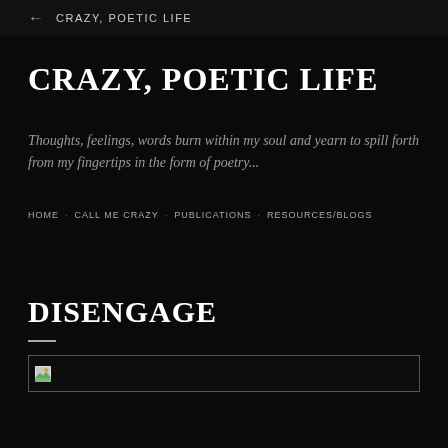← CRAZY, POETIC LIFE
CRAZY, POETIC LIFE
Thoughts, feelings, words burn within my soul and yearn to spill forth from my fingertips in the form of poetry...
HOME · CALL ME CRAZY · PUBLICATIONS · RESOURCES/BLOGS
DISENGAGE
[Figure (photo): Broken image placeholder with small icon at top-left of a bordered rectangle]